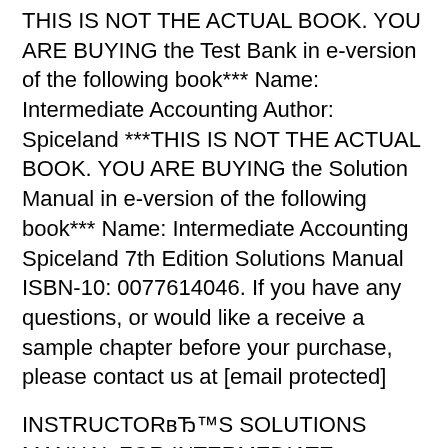THIS IS NOT THE ACTUAL BOOK. YOU ARE BUYING the Test Bank in e-version of the following book*** Name: Intermediate Accounting Author: Spiceland ***THIS IS NOT THE ACTUAL BOOK. YOU ARE BUYING the Solution Manual in e-version of the following book*** Name: Intermediate Accounting Spiceland 7th Edition Solutions Manual ISBN-10: 0077614046. If you have any questions, or would like a receive a sample chapter before your purchase, please contact us at [email protected]
INSTRUCTORвЂ™S SOLUTIONS MANUAL FOR INTERMEDIATE ACCOUNTING 8TH EDITION BY SPICELAND. The solutions manual holds the correct answers to all questions within your textbook, therefore, It could save you time and